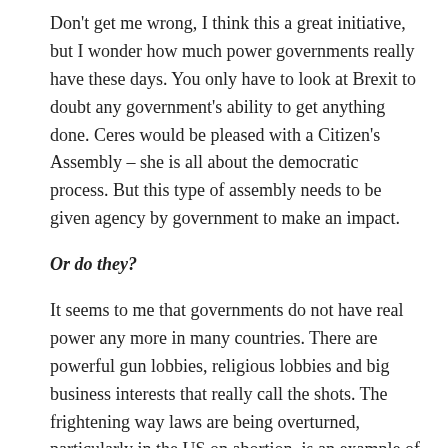Don't get me wrong, I think this a great initiative, but I wonder how much power governments really have these days. You only have to look at Brexit to doubt any government's ability to get anything done. Ceres would be pleased with a Citizen's Assembly – she is all about the democratic process. But this type of assembly needs to be given agency by government to make an impact.
Or do they?
It seems to me that governments do not have real power any more in many countries. There are powerful gun lobbies, religious lobbies and big business interests that really call the shots. The frightening way laws are being overturned, particularly in the US on abortion, is an example of this. Our democracy is broken. I wrote a post about this too in 2016 using Brexit as an example.
Civil disobedience is a good plan (maybe the only one) and of course governments can and must be